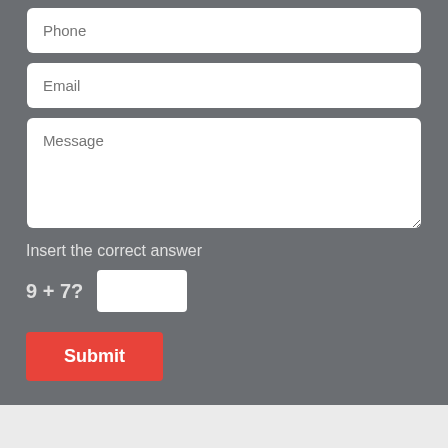[Figure (screenshot): Web contact form with Phone input field at top (partially visible)]
Insert the correct answer
9 + 7?
Submit
Renton Lock And Keys | Renton Lock And Keys | Hours: Monday through Sunday, All